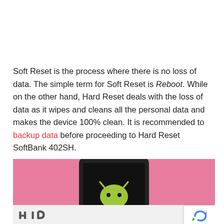Soft Reset is the process where there is no loss of data. The simple term for Soft Reset is Reboot. While on the other hand, Hard Reset deals with the loss of data as it wipes and cleans all the personal data and makes the device 100% clean. It is recommended to backup data before proceeding to Hard Reset SoftBank 402SH.
[Figure (illustration): Pink background with a black smartphone displaying the Android robot logo (green), partially visible. Below the phone image is a partial row of icons/letters on a white strip. A reCAPTCHA badge is visible in the bottom right corner.]